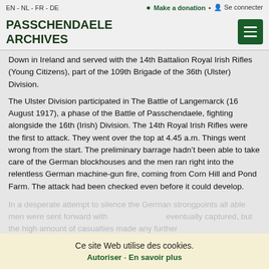EN - NL - FR - DE   Make a donation • Se connecter
PASSCHENDAELE ARCHIVES
Down in Ireland and served with the 14th Battalion Royal Irish Rifles (Young Citizens), part of the 109th Brigade of the 36th (Ulster) Division.
The Ulster Division participated in The Battle of Langemarck (16 August 1917), a phase of the Battle of Passchendaele, fighting alongside the 16th (Irish) Division. The 14th Royal Irish Rifles were the first to attack. They went over the top at 4.45 a.m. Things went wrong from the start. The preliminary barrage hadn’t been able to take care of the German blockhouses and the men ran right into the relentless German machine-gun fire, coming from Corn Hill and Pond Farm. The attack had been checked even before it could develop.
In a desperate attempt to silence the German strongpoints all able men were sent forward with... eventually captured, but the high amount of casualties made any further
Ce site Web utilise des cookies.
Autoriser - En savoir plus